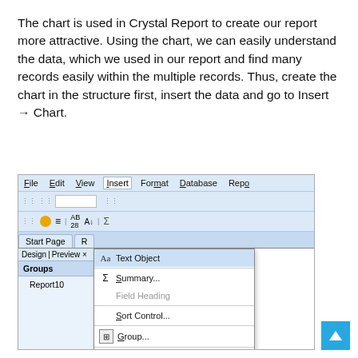The chart is used in Crystal Report to create our report more attractive. Using the chart, we can easily understand the data, which we used in our report and find many records easily within the multiple records. Thus, create the chart in the structure first, insert the data and go to Insert → Chart.
[Figure (screenshot): Crystal Reports application screenshot showing the Insert menu open with options: Text Object (highlighted), Summary..., Field Heading (grayed), Sort Control..., Group..., OLAP Grid..., Cross-Tab..., Subreport..., Line. The left panel shows a Groups section with Report10 listed.]